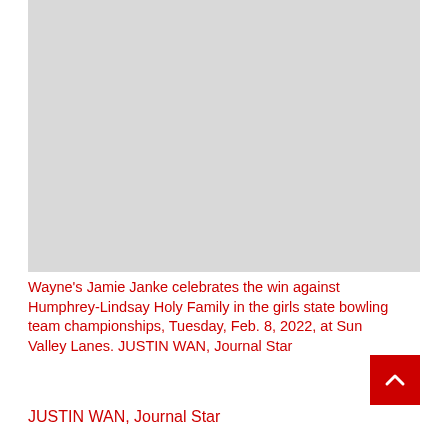[Figure (photo): A light gray placeholder image representing a photo of Wayne's Jamie Janke celebrating the win against Humphrey-Lindsay Holy Family in the girls state bowling team championships.]
Wayne's Jamie Janke celebrates the win against Humphrey-Lindsay Holy Family in the girls state bowling team championships, Tuesday, Feb. 8, 2022, at Sun Valley Lanes. JUSTIN WAN, Journal Star
JUSTIN WAN, Journal Star